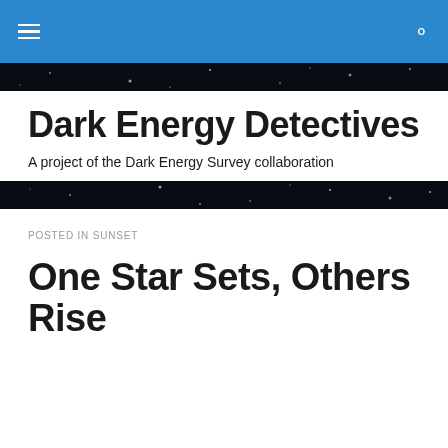Dark Energy Detectives — navigation bar with hamburger menu and search icon
[Figure (illustration): Dark starfield banner strip at top of page header area]
Dark Energy Detectives
A project of the Dark Energy Survey collaboration
[Figure (illustration): Dark starfield banner strip below site identity area]
POSTED IN SUNSET
One Star Sets, Others Rise